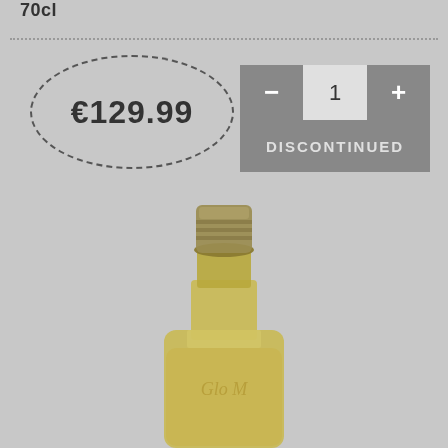70cl
€129.99
1
DISCONTINUED
[Figure (photo): Photo of the top portion of a whisky bottle with a gold/brass screw cap and yellow-amber liquid visible inside, photographed against a grey background. The bottle embossing appears to read 'Glenfarclas' or similar Scotch whisky brand.]